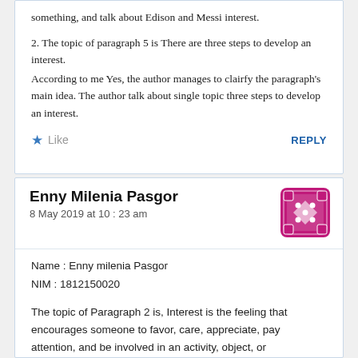something, and talk about Edison and Messi interest.
2. The topic of paragraph 5 is There are three steps to develop an interest.
According to me Yes, the author manages to clairfy the paragraph's main idea. The author talk about single topic three steps to develop an interest.
Like   REPLY
Enny Milenia Pasgor
8 May 2019 at 10:23 am
Name : Enny milenia Pasgor
NIM : 1812150020
The topic of Paragraph 2 is, Interest is the feeling that encourages someone to favor, care, appreciate, pay attention, and be involved in an activity, object, or phenomenon.